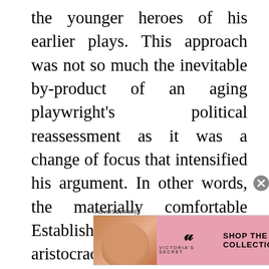the younger heroes of his earlier plays. This approach was not so much the inevitable by-product of an aging playwright's political reassessment as it was a change of focus that intensified his argument. In other words, the materially comfortable Establishment and the stolid aristocracy are as dissatisfied as the disenfranchised younger generation. In West of Suez, the first play designating this new focus, the shift from self-righteous anger to anxious unsettledness denotes not only nostalgia for the past and dissatisfaction with the
Advertisements
[Figure (other): Victoria's Secret advertisement banner showing a woman model on the left, VS logo in the center, and 'SHOP THE COLLECTION' text with 'SHOP NOW' button on the right, on a pink background.]